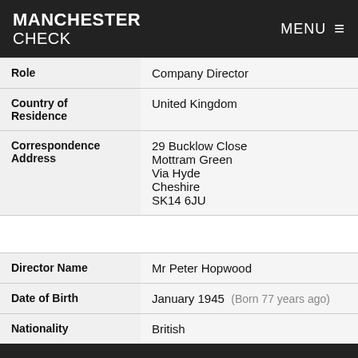MANCHESTER CHECK | MENU
| Field | Value |
| --- | --- |
| Role | Company Director |
| Country of Residence | United Kingdom |
| Correspondence Address | 29 Bucklow Close
Mottram Green
Via Hyde
Cheshire
SK14 6JU |
| Director Name | Mr Peter Hopwood |
| Date of Birth | January 1945  (Born 77 years ago) |
| Nationality | British |